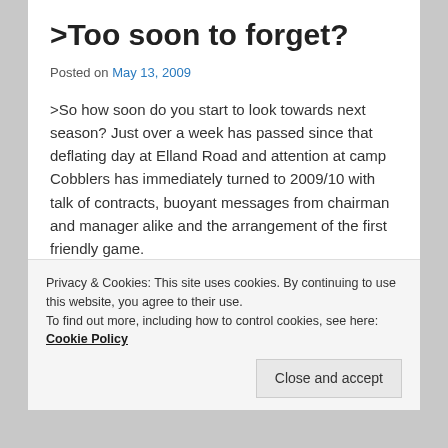>Too soon to forget?
Posted on May 13, 2009
>So how soon do you start to look towards next season? Just over a week has passed since that deflating day at Elland Road and attention at camp Cobblers has immediately turned to 2009/10 with talk of contracts, buoyant messages from chairman and manager alike and the arrangement of the first friendly game.
With playoffs and the like still going on it’s hard to fully draw this season to a close and talking about the next campaign is almost like those people who look forward to Christmas in January. The Cobblers are taking the
Privacy & Cookies: This site uses cookies. By continuing to use this website, you agree to their use.
To find out more, including how to control cookies, see here: Cookie Policy
Close and accept